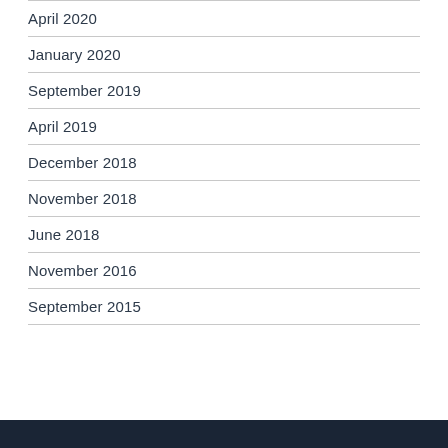April 2020
January 2020
September 2019
April 2019
December 2018
November 2018
June 2018
November 2016
September 2015